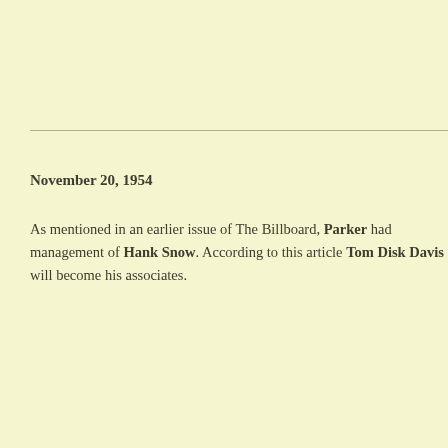November 20, 1954
As mentioned in an earlier issue of The Billboard, Parker had management of Hank Snow. According to this article Tom Disk Davis will become his associates.